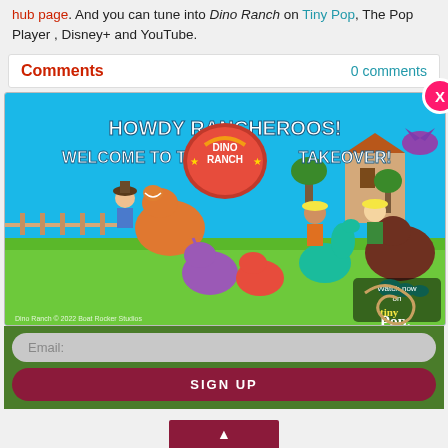hub page. And you can tune into Dino Ranch on Tiny Pop, The Pop Player , Disney+ and YouTube.
Comments — 0 comments
[Figure (illustration): Dino Ranch promotional banner popup with text 'HOWDY RANCHEROOS! WELCOME TO THE DINO RANCH TAKEOVER!' showing animated characters: children riding dinosaurs in a ranch setting with 'Watch now on Tiny Pop' logo. Has a pink X close button in the top-right corner.]
Email:
SIGN UP